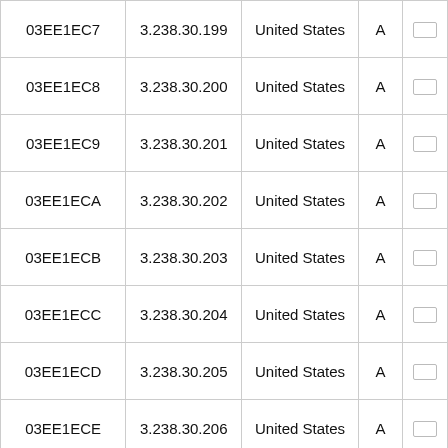| 03EE1EC7 | 3.238.30.199 | United States | A | □□ |
| 03EE1EC8 | 3.238.30.200 | United States | A | □□ |
| 03EE1EC9 | 3.238.30.201 | United States | A | □□ |
| 03EE1ECA | 3.238.30.202 | United States | A | □□ |
| 03EE1ECB | 3.238.30.203 | United States | A | □□ |
| 03EE1ECC | 3.238.30.204 | United States | A | □□ |
| 03EE1ECD | 3.238.30.205 | United States | A | □□ |
| 03EE1ECE | 3.238.30.206 | United States | A | □□ |
| 03EE1ECF | 3.238.30.207 | United States | A | □□ |
| 03EE1ED0 | 3.238.30.208 | United States | A | □□ |
| 03EE1ED1 | 3.238.30.209 | United States | A | □□ |